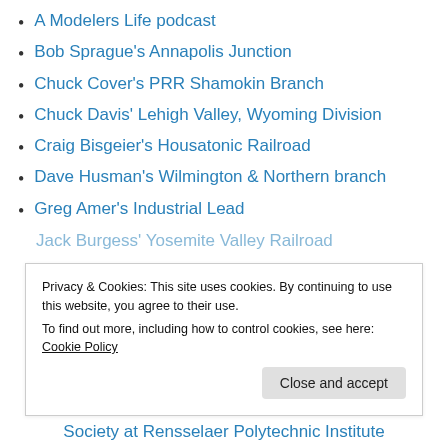A Modelers Life podcast
Bob Sprague's Annapolis Junction
Chuck Cover's PRR Shamokin Branch
Chuck Davis' Lehigh Valley, Wyoming Division
Craig Bisgeier's Housatonic Railroad
Dave Husman's Wilmington & Northern branch
Greg Amer's Industrial Lead
Jack Burgess' Yosemite Valley Railroad (truncated/partially visible)
Privacy & Cookies: This site uses cookies. By continuing to use this website, you agree to their use. To find out more, including how to control cookies, see here: Cookie Policy
Close and accept
Society at Rensselaer Polytechnic Institute